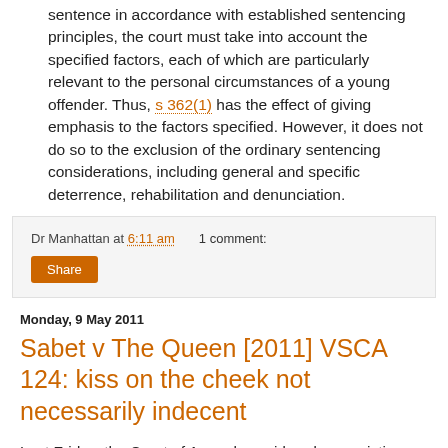sentence in accordance with established sentencing principles, the court must take into account the specified factors, each of which are particularly relevant to the personal circumstances of a young offender. Thus, s 362(1) has the effect of giving emphasis to the factors specified. However, it does not do so to the exclusion of the ordinary sentencing considerations, including general and specific deterrence, rehabilitation and denunciation.
Dr Manhattan at 6:11 am   1 comment:
Share
Monday, 9 May 2011
Sabet v The Queen [2011] VSCA 124: kiss on the cheek not necessarily indecent
Last Friday, the Court of Appeal considered a conviction...